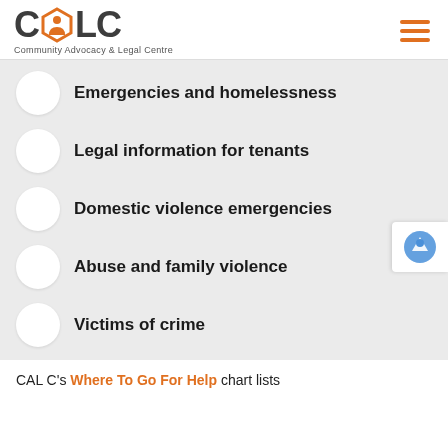CALC — Community Advocacy & Legal Centre
Emergencies and homelessness
Legal information for tenants
Domestic violence emergencies
Abuse and family violence
Victims of crime
CALC's Where To Go For Help chart lists